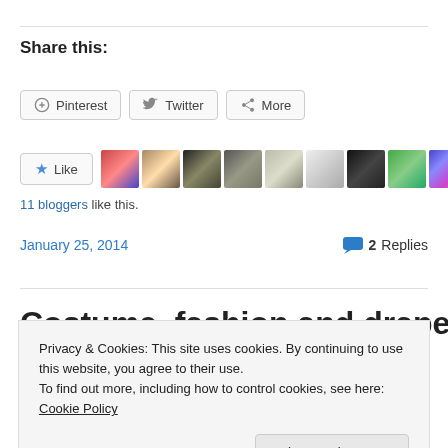Share this:
Pinterest  Twitter  More
[Figure (other): Like button with star icon and 9 blogger avatar thumbnails]
11 bloggers like this.
January 25, 2014   2 Replies
Costume, fashion and drapery
Privacy & Cookies: This site uses cookies. By continuing to use this website, you agree to their use.
To find out more, including how to control cookies, see here: Cookie Policy
Close and accept